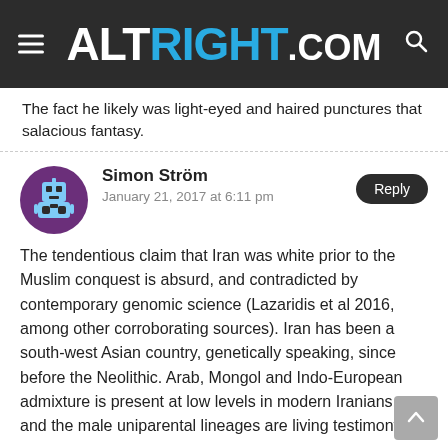ALTRIGHT.COM
The fact he likely was light-eyed and haired punctures that salacious fantasy.
Simon Ström
January 21, 2017 at 6:11 pm
The tendentious claim that Iran was white prior to the Muslim conquest is absurd, and contradicted by contemporary genomic science (Lazaridis et al 2016, among other corroborating sources). Iran has been a south-west Asian country, genetically speaking, since before the Neolithic. Arab, Mongol and Indo-European admixture is present at low levels in modern Iranians, and the male uniparental lineages are living testimony of the continued influence of broadly non-lit...